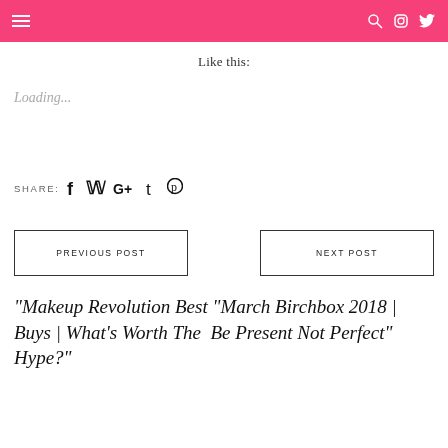Navigation bar with hamburger menu and social icons
Like this:
Loading...
SHARE:  f  t  G+  t  P
PREVIOUS POST
NEXT POST
"Makeup Revolution Best "March Birchbox 2018 | Buys | What’s Worth The  Be Present Not Perfect" Hype?"